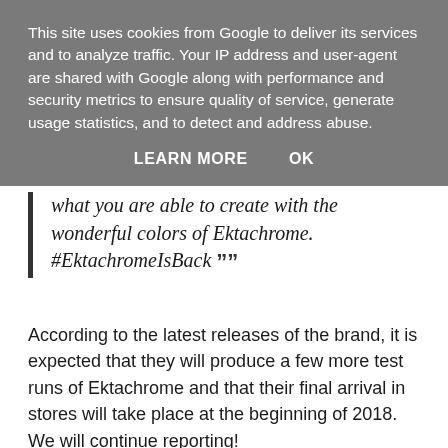This site uses cookies from Google to deliver its services and to analyze traffic. Your IP address and user-agent are shared with Google along with performance and security metrics to ensure quality of service, generate usage statistics, and to detect and address abuse.
LEARN MORE    OK
what you are able to create with the wonderful colors of Ektachrome. #EktachromeIsBack ””
According to the latest releases of the brand, it is expected that they will produce a few more test runs of Ektachrome and that their final arrival in stores will take place at the beginning of 2018. We will continue reporting!